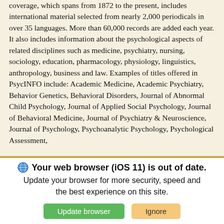coverage, which spans from 1872 to the present, includes international material selected from nearly 2,000 periodicals in over 35 languages. More than 60,000 records are added each year. It also includes information about the psychological aspects of related disciplines such as medicine, psychiatry, nursing, sociology, education, pharmacology, physiology, linguistics, anthropology, business and law. Examples of titles offered in PsycINFO include: Academic Medicine, Academic Psychiatry, Behavior Genetics, Behavioral Disorders, Journal of Abnormal Child Psychology, Journal of Applied Social Psychology, Journal of Behavioral Medicine, Journal of Psychiatry & Neuroscience, Journal of Psychology, Psychoanalytic Psychology, Psychological Assessment,
Your web browser (iOS 11) is out of date. Update your browser for more security, speed and the best experience on this site.
Update browser
Ignore